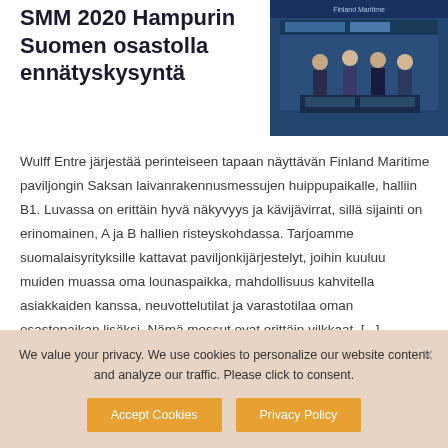SMM 2020 Hampurin Suomen osastolla ennätyskysyntä
[Figure (photo): People at a trade fair exhibition booth, showing several men in business attire at what appears to be the Finland Maritime pavilion at the SMM Hamburg shipbuilding fair.]
Wulff Entre järjestää perinteiseen tapaan näyttävän Finland Maritime paviljongin Saksan laivanrakennusmessujen huippupaikalle, halliin B1. Luvassa on erittäin hyvä näkyvyys ja kävijävirrat, sillä sijainti on erinomainen, A ja B hallien risteyskohdassa. Tarjoamme suomalaisyrityksille kattavat paviljonkijärjestelyt, joihin kuuluu muiden muassa oma lounaspaikka, mahdollisuus kahvitella asiakkaiden kanssa, neuvottelutilat ja varastotilaa oman osastopaikan lisäksi. Nämä messut ovat erittäin vilkkaat, [...]
We value your privacy. We use cookies to personalize our website content and analyze our traffic. Please click to consent.
Accept Cookies
Privacy Policy